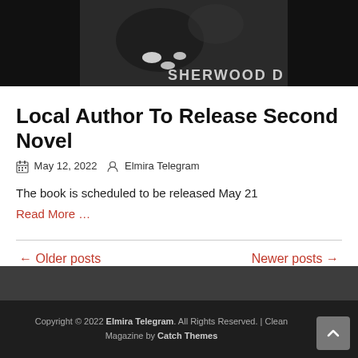[Figure (photo): Top portion of a book cover or photo showing text 'SHERWOOD D' on a dark background]
Local Author To Release Second Novel
May 12, 2022   Elmira Telegram
The book is scheduled to be released May 21
Read More …
← Older posts
Newer posts →
Copyright © 2022 Elmira Telegram. All Rights Reserved. | Clean Magazine by Catch Themes